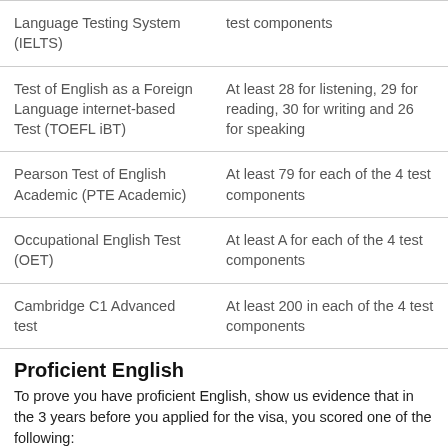| Test | Score |
| --- | --- |
| Language Testing System (IELTS) | At least 6.5 for each of the 4 test components |
| Test of English as a Foreign Language internet-based Test (TOEFL iBT) | At least 28 for listening, 29 for reading, 30 for writing and 26 for speaking |
| Pearson Test of English Academic (PTE Academic) | At least 79 for each of the 4 test components |
| Occupational English Test (OET) | At least A for each of the 4 test components |
| Cambridge C1 Advanced test | At least 200 in each of the 4 test components |
Proficient English
To prove you have proficient English, show us evidence that in the 3 years before you applied for the visa, you scored one of the following:
| Test | Score |
| --- | --- |